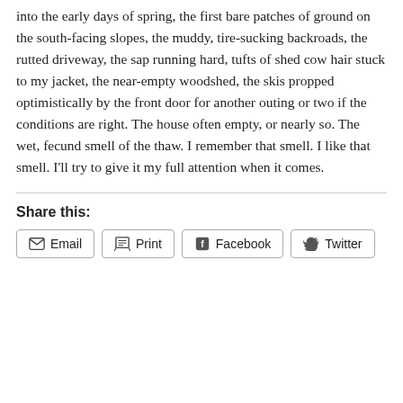into the early days of spring, the first bare patches of ground on the south-facing slopes, the muddy, tire-sucking backroads, the rutted driveway, the sap running hard, tufts of shed cow hair stuck to my jacket, the near-empty woodshed, the skis propped optimistically by the front door for another outing or two if the conditions are right. The house often empty, or nearly so. The wet, fecund smell of the thaw. I remember that smell. I like that smell. I'll try to give it my full attention when it comes.
Share this:
Email
Print
Facebook
Twitter